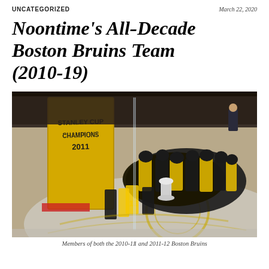UNCATEGORIZED | March 22, 2020
Noontime's All-Decade Boston Bruins Team (2010-19)
[Figure (photo): Boston Bruins players in black and yellow jerseys gathered on ice holding the Stanley Cup trophy, with a Stanley Cup Champions 2011 banner visible in the background at TD Garden arena.]
Members of both the 2010-11 and 2011-12 Boston Bruins